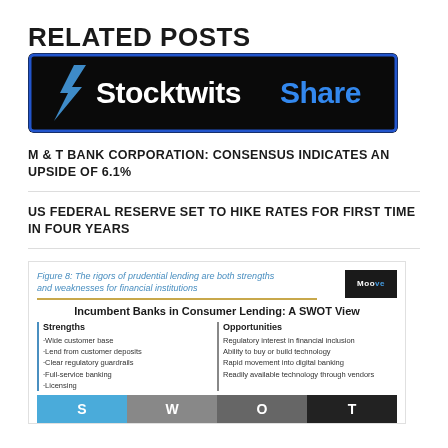RELATED POSTS
[Figure (logo): Stocktwits Share button logo — black background with blue border, white Stocktwits wordmark and blue 'Share' text]
M & T BANK CORPORATION: CONSENSUS INDICATES AN UPSIDE OF 6.1%
US FEDERAL RESERVE SET TO HIKE RATES FOR FIRST TIME IN FOUR YEARS
[Figure (infographic): Figure 8: The rigors of prudential lending are both strengths and weaknesses for financial institutions. Incumbent Banks in Consumer Lending: A SWOT View. Shows Strengths column (Wide customer base, Lend from customer deposits, Clear regulatory guardrails, Full-service banking, Licensing) and Opportunities column (Regulatory interest in financial inclusion, Ability to buy or build technology, Rapid movement into digital banking, Readily available technology through vendors). Bottom bar shows S W O T labels in blue, grey, dark grey, black.]